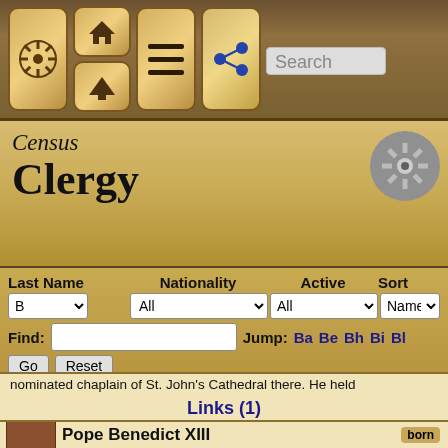[Figure (screenshot): Mobile app navigation bar with icons: ship wheel, home/up buttons, hamburger menu, share icon, and search bar]
Census
Clergy
Last Name   Nationality   Active   Sort
Find:   Jump: Ba  Be  Bh  Bi  Bl
nominated chaplain of St. John's Cathedral there. He held
Links (1)
Pope Benedict XIII
aka: Pietro Francesco Orsini, Vincenzo Maria Orsini
born 1649, Feb
Pope of the Roman Catholic Church from 1724 until his d... not of wordly matters, he endeavoured to put a stop to the... the Italian priesthood and of the cardinalate. He also aboli... Rome. The government was effectively held in his lieu by... Coscia, who had been Benedict XIII's secretary wh...